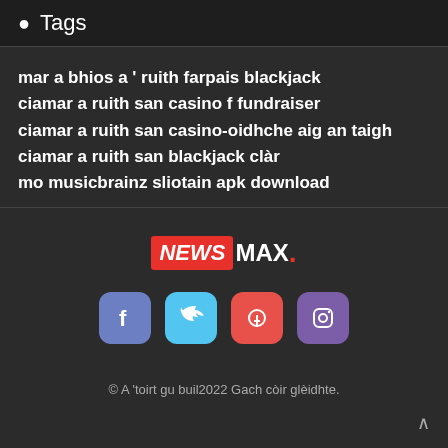Tags
mar a bhios a ' ruith farpais blackjack
ciamar a ruith san casino f fundraiser
ciamar a ruith san casino-oidhche aig an taigh
ciamar a ruith san blackjack clàr
mo musicbrainz sliotain apk download
[Figure (logo): NEWSMAX logo with red background on NEWS and white MAX text]
[Figure (infographic): Social media icons: Facebook, Twitter, Pinterest, Instagram]
© A 'toirt gu buil2022 Gach còir glèidhte.